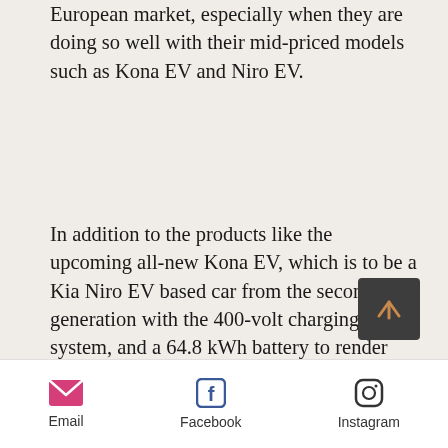European market, especially when they are doing so well with their mid-priced models such as Kona EV and Niro EV.
In addition to the products like the upcoming all-new Kona EV, which is to be a Kia Niro EV based car from the second generation with the 400-volt charging system, and a 64.8 kWh battery to render approximately 450 km WLTP range, being added to the EV lineup that's led by the 800-volt IONIQ 5, Hyundai has now officially made clear that there is to be a brand new electric city car destined mainly for Europe as well.
Email | Facebook | Instagram